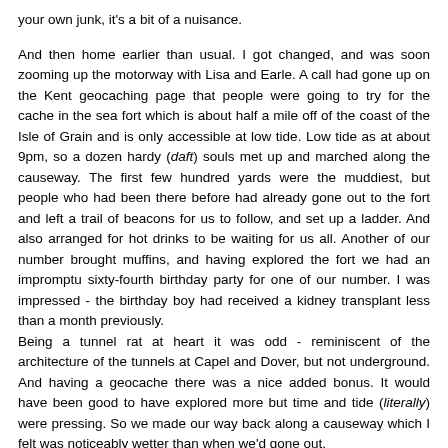your own junk, it's a bit of a nuisance.
And then home earlier than usual. I got changed, and was soon zooming up the motorway with Lisa and Earle. A call had gone up on the Kent geocaching page that people were going to try for the cache in the sea fort which is about half a mile off of the coast of the Isle of Grain and is only accessible at low tide. Low tide as at about 9pm, so a dozen hardy (daft) souls met up and marched along the causeway. The first few hundred yards were the muddiest, but people who had been there before had already gone out to the fort and left a trail of beacons for us to follow, and set up a ladder. And also arranged for hot drinks to be waiting for us all. Another of our number brought muffins, and having explored the fort we had an impromptu sixty-fourth birthday party for one of our number. I was impressed - the birthday boy had received a kidney transplant less than a month previously.
Being a tunnel rat at heart it was odd - reminiscent of the architecture of the tunnels at Capel and Dover, but not underground. And having a geocache there was a nice added bonus. It would have been good to have explored more but time and tide (literally) were pressing. So we made our way back along a causeway which I felt was noticeably wetter than when we'd gone out.